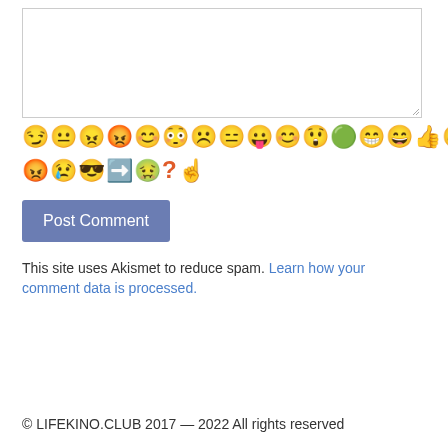[Figure (screenshot): Text area input box with resize handle]
[Figure (illustration): Two rows of emoji icons for comment reactions]
[Figure (illustration): Post Comment button (blue/grey)]
This site uses Akismet to reduce spam. Learn how your comment data is processed.
© LIFEKINO.CLUB 2017 — 2022 All rights reserved